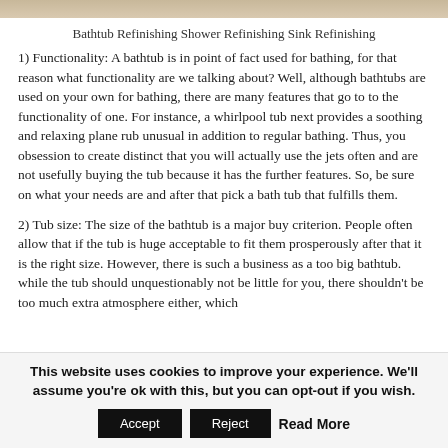[Figure (photo): Partial photo of a bathtub or bathroom fixture at the top of the page]
Bathtub Refinishing Shower Refinishing Sink Refinishing
1) Functionality: A bathtub is in point of fact used for bathing, for that reason what functionality are we talking about? Well, although bathtubs are used on your own for bathing, there are many features that go to to the functionality of one. For instance, a whirlpool tub next provides a soothing and relaxing plane rub unusual in addition to regular bathing. Thus, you obsession to create distinct that you will actually use the jets often and are not usefully buying the tub because it has the further features. So, be sure on what your needs are and after that pick a bath tub that fulfills them.
2) Tub size: The size of the bathtub is a major buy criterion. People often allow that if the tub is huge acceptable to fit them prosperously after that it is the right size. However, there is such a business as a too big bathtub. while the tub should unquestionably not be little for you, there shouldn't be too much extra atmosphere either, which
This website uses cookies to improve your experience. We'll assume you're ok with this, but you can opt-out if you wish.
Accept | Reject | Read More